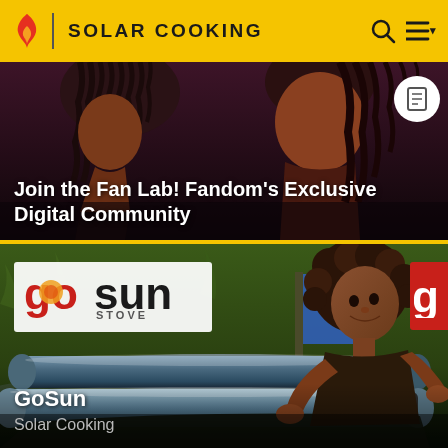SOLAR COOKING
[Figure (screenshot): Advertisement banner: Join the Fan Lab! Fandom's Exclusive Digital Community — dark background with two people, white circle icon with page symbol on right]
Join the Fan Lab! Fandom's Exclusive Digital Community
[Figure (photo): GoSun Stove product card: woman using a GoSun solar tube cooker on grass, GoSun Stove logo visible, partial red logo on far right]
GoSun
Solar Cooking